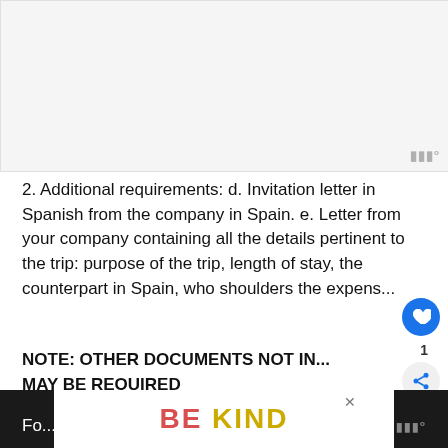[Figure (other): Gray placeholder image area at top of page]
2. Additional requirements: d. Invitation letter in Spanish from the company in Spain. e. Letter from your company containing all the details pertinent to the trip: purpose of the trip, length of stay, the counterpart in Spain, who shoulders the expens...
NOTE: OTHER DOCUMENTS NOT IN... MAY BE REQUIRED
Fo... ...ainNor